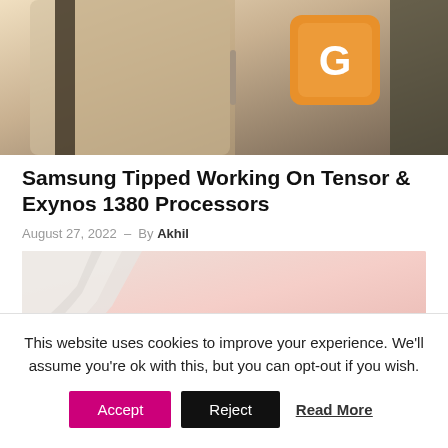[Figure (photo): Close-up photo of a smartphone with an orange/gold chip or button showing the letter G, with dark metallic phone edges visible]
Samsung Tipped Working On Tensor & Exynos 1380 Processors
August 27, 2022 – By Akhil
[Figure (photo): Partial image with pinkish-beige background showing a folded or peeling white paper/sticker on the left side]
This website uses cookies to improve your experience. We'll assume you're ok with this, but you can opt-out if you wish.